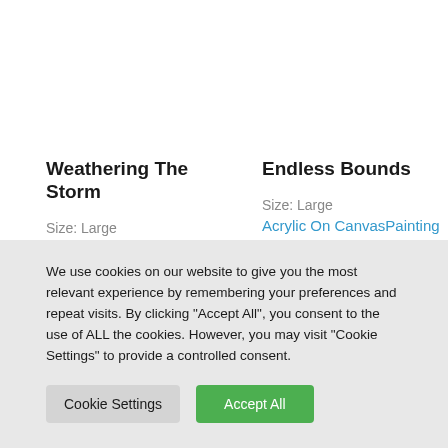Weathering The Storm
Size: Large
Painting
Price on Application
Endless Bounds
Size: Large
Acrylic On CanvasPainting
€2,500.00
We use cookies on our website to give you the most relevant experience by remembering your preferences and repeat visits. By clicking "Accept All", you consent to the use of ALL the cookies. However, you may visit "Cookie Settings" to provide a controlled consent.